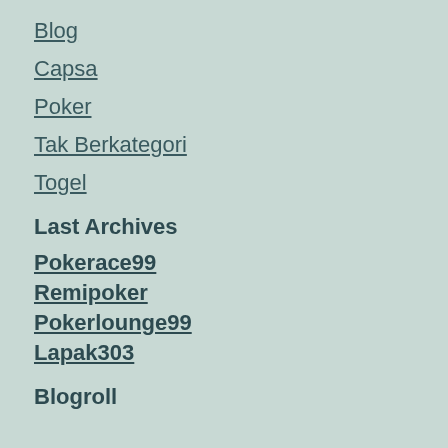Blog
Capsa
Poker
Tak Berkategori
Togel
Last Archives
Pokerace99
Remipoker
Pokerlounge99
Lapak303
Blogroll